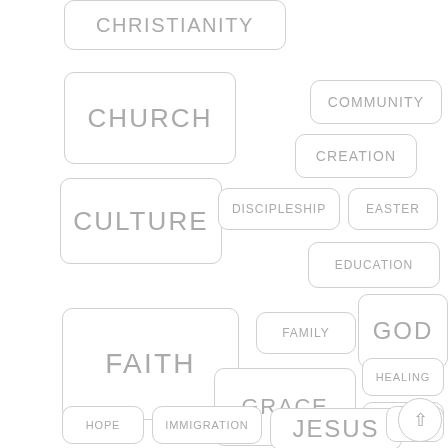CHRISTIANITY
CHURCH
COMMUNITY
CREATION
CULTURE
DISCIPLESHIP
EASTER
EDUCATION
FAITH
FAMILY
GOD
GRACE
HEALING
HISTORY
HOPE
IMMIGRATION
JESUS
JOY